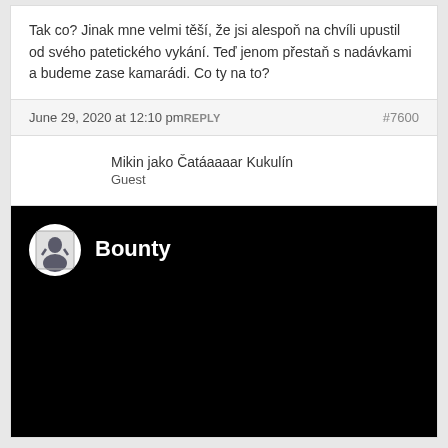Tak co? Jinak mne velmi těší, že jsi alespoň na chvíli upustil od svého patetického vykání. Teď jenom přestaň s nadávkami a budeme zase kamarádi. Co ty na to?
June 29, 2020 at 12:10 pm REPLY #7600
Mikin jako Čatáaaaar Kukulín
Guest
[Figure (screenshot): Black video player background with a white circular avatar showing a portrait illustration and white bold text 'Bounty' to the right of the avatar.]